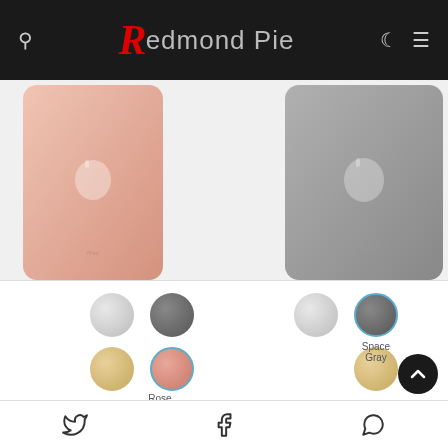Redmond Pie
[Figure (photo): Two Apple iPad tablets shown from the back — one in Rose Gold (left) and one in Space Gray (right), partially visible]
[Figure (infographic): Color swatch selectors for iPad colors: left group shows Silver, Space Gray (top row) and Gold, Rose Gold (bottom row, Rose Gold selected); right group shows Silver, Space Gray (top row, Space Gray selected) and Gold (bottom row)]
Rose Gold
Space Gray
Twitter · Facebook · WhatsApp share icons